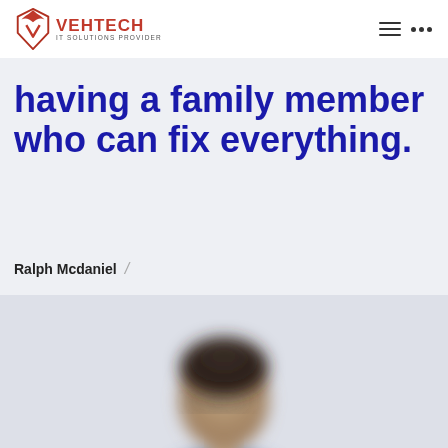VEHTECH IT SOLUTIONS PROVIDER
having a family member who can fix everything.
Ralph Mcdaniel /
[Figure (photo): Blurred photo of a person wearing glasses and a blue shirt, visible from the shoulders up against a light gray background.]